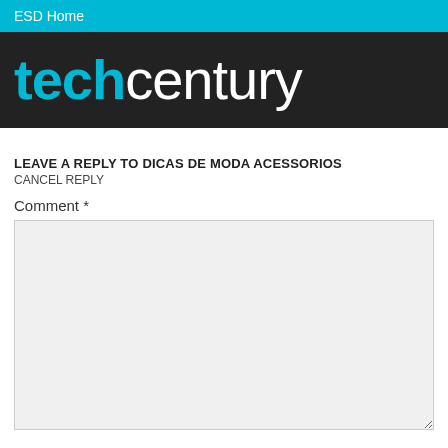ESD Home
[Figure (logo): techcentury logo in white and cyan on dark background]
LEAVE A REPLY TO DICAS DE MODA ACESSORIOS
CANCEL REPLY
Comment *
Name *